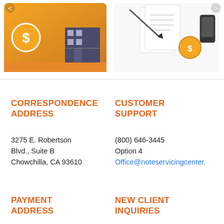[Figure (illustration): Two promotional images side by side: left shows a gold/orange card with dollar sign and building illustration; right shows a document signing illustration with coin and phone]
CORRESPONDENCE ADDRESS
3275 E. Robertson Blvd., Suite B
Chowchilla, CA 93610
CUSTOMER SUPPORT
(800) 646-3445
Option 4
Office@noteservicingcenter.
PAYMENT ADDRESS
NEW CLIENT INQUIRIES